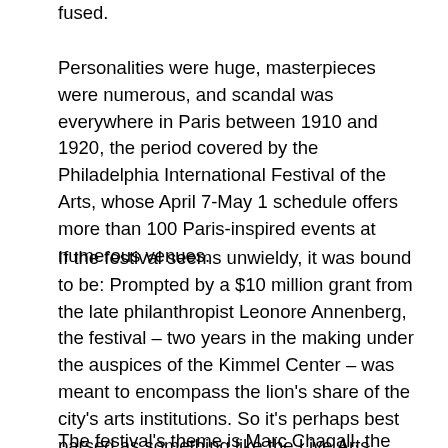fused.
Personalities were huge, masterpieces were numerous, and scandal was everywhere in Paris between 1910 and 1920, the period covered by the Philadelphia International Festival of the Arts, whose April 7-May 1 schedule offers more than 100 Paris-inspired events at numerous venues.
If the festival seems unwieldy, it was bound to be: Prompted by a $10 million grant from the late philanthropist Leonore Annenberg, the festival – two years in the making under the auspices of the Kimmel Center – was meant to encompass the lion's share of the city's arts institutions. So it's perhaps best parsed as something like the Live Arts Festival/Philly Fringe – though with a fringe that already happened and became legendary.
The festival's theme is Marc Chagall, the Russian-